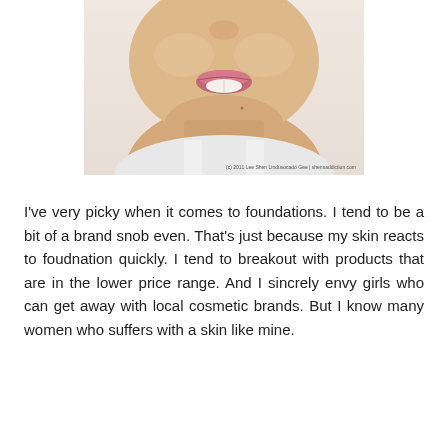[Figure (photo): Close-up photo of a young woman smiling, showing her face from the nose down to the upper chest, wearing a white tank top. Watermark text reads: (c) 2011 Lee Shen Lindusocado Gee | shensaddiction.com]
I've very picky when it comes to foundations. I tend to be a bit of a brand snob even. That's just because my skin reacts to foudnation quickly. I tend to breakout with products that are in the lower price range. And I sincrely envy girls who can get away with local cosmetic brands. But I know many women who suffers with a skin like mine.